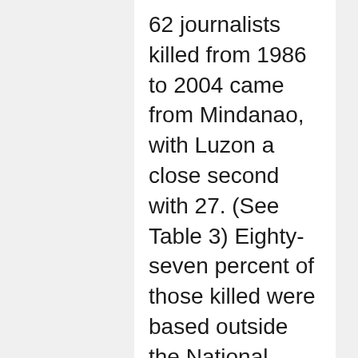62 journalists killed from 1986 to 2004 came from Mindanao, with Luzon a close second with 27. (See Table 3) Eighty-seven percent of those killed were based outside the National Capital Region (NCR).
According to form of media, around 52 percent of journalists killed were radio journalists. Print and TV journalists, meanwhile, comprised roughly 39 percent and five percent respectively. There was one online